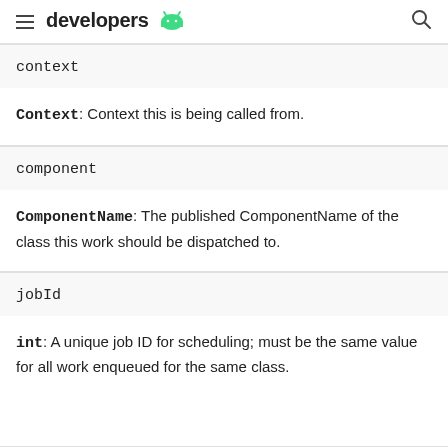developers
context
Context: Context this is being called from.
component
ComponentName: The published ComponentName of the class this work should be dispatched to.
jobId
int: A unique job ID for scheduling; must be the same value for all work enqueued for the same class.